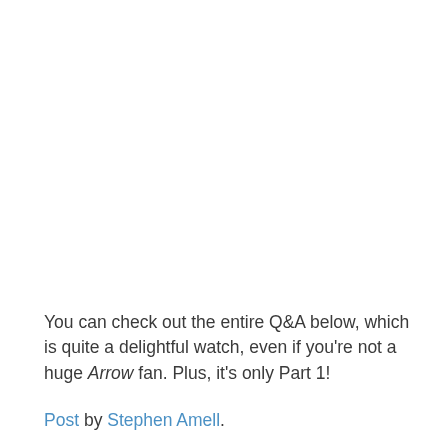You can check out the entire Q&A below, which is quite a delightful watch, even if you're not a huge Arrow fan. Plus, it's only Part 1!
Post by Stephen Amell.